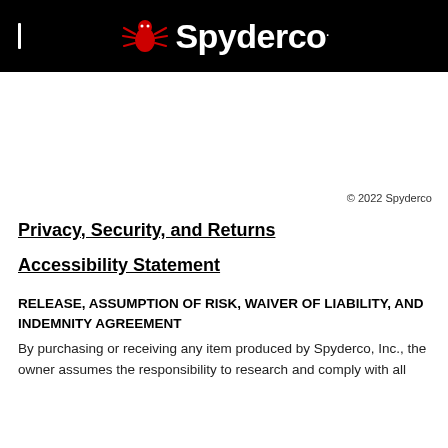[Figure (logo): Spyderco logo on black background with red spider icon and white text]
© 2022 Spyderco
Privacy, Security, and Returns
Accessibility Statement
RELEASE, ASSUMPTION OF RISK, WAIVER OF LIABILITY, AND INDEMNITY AGREEMENT
By purchasing or receiving any item produced by Spyderco, Inc., the owner assumes the responsibility to research and comply with all